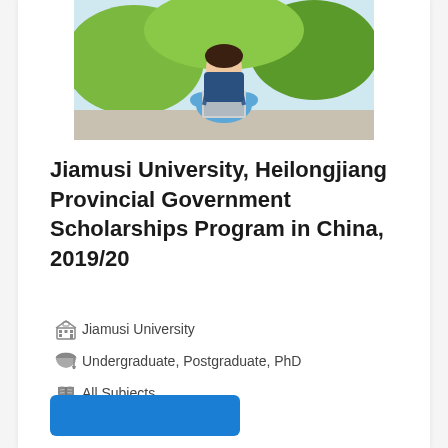[Figure (photo): A student wearing a light blue hoodie, carrying a laptop and wearing a backpack, standing outdoors on a campus path with green foliage in the background.]
Jiamusi University, Heilongjiang Provincial Government Scholarships Program in China, 2019/20
Jiamusi University
Undergraduate, Postgraduate, PhD
All Subjects
International Students
China